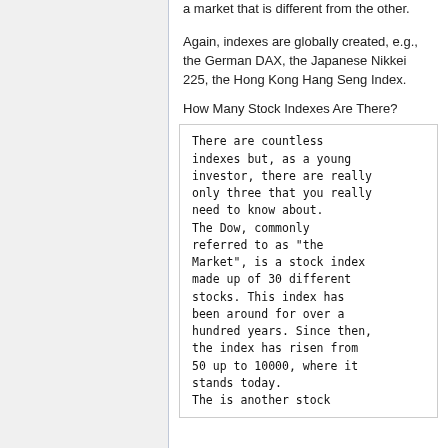a market that is different from the other.
Again, indexes are globally created, e.g., the German DAX, the Japanese Nikkei 225, the Hong Kong Hang Seng Index.
How Many Stock Indexes Are There?
There are countless indexes but, as a young investor, there are really only three that you really need to know about. The Dow, commonly referred to as "the Market", is a stock index made up of 30 different stocks. This index has been around for over a hundred years. Since then, the index has risen from 50 up to 10000, where it stands today. The is another stock